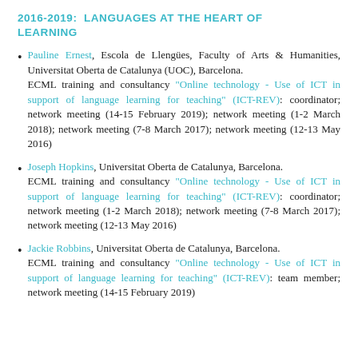2016-2019: LANGUAGES AT THE HEART OF LEARNING
Pauline Ernest, Escola de Llengües, Faculty of Arts & Humanities, Universitat Oberta de Catalunya (UOC), Barcelona. ECML training and consultancy "Online technology - Use of ICT in support of language learning for teaching" (ICT-REV): coordinator; network meeting (14-15 February 2019); network meeting (1-2 March 2018); network meeting (7-8 March 2017); network meeting (12-13 May 2016)
Joseph Hopkins, Universitat Oberta de Catalunya, Barcelona. ECML training and consultancy "Online technology - Use of ICT in support of language learning for teaching" (ICT-REV): coordinator; network meeting (1-2 March 2018); network meeting (7-8 March 2017); network meeting (12-13 May 2016)
Jackie Robbins, Universitat Oberta de Catalunya, Barcelona. ECML training and consultancy "Online technology - Use of ICT in support of language learning for teaching" (ICT-REV): team member; network meeting (14-15 February 2019)